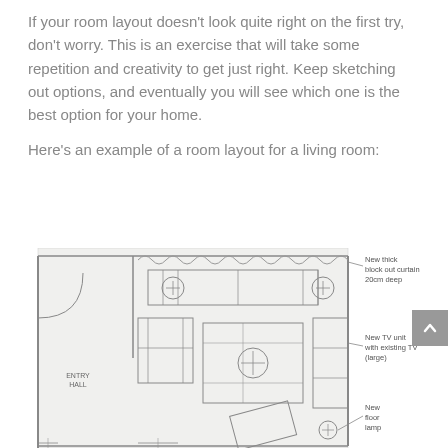If your room layout doesn't look quite right on the first try, don't worry. This is an exercise that will take some repetition and creativity to get just right. Keep sketching out options, and eventually you will see which one is the best option for your home.
Here's an example of a room layout for a living room:
[Figure (engineering-diagram): A floor plan layout of a living room shown as a line drawing. Labels include: ENTRY HALL on the left side, and callout annotations on the right: 'New thick block out curtain 20cm deep', 'New TV unit with existing TV (large)', 'New floor lamp'. The plan shows furniture positions including sofas, chairs (circles with crosshairs), and a TV unit against the right wall.]